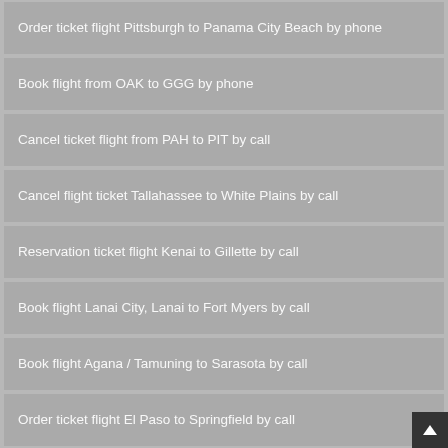Order ticket flight Pittsburgh to Panama City Beach by phone
Book flight from OAK to GGG by phone
Cancel ticket flight from PAH to PIT by call
Cancel flight ticket Tallahassee to White Plains by call
Reservation ticket flight Kenai to Gillette by call
Book flight Lanai City, Lanai to Fort Myers by call
Book flight Agana / Tamuning to Sarasota by call
Order ticket flight El Paso to Springfield by call